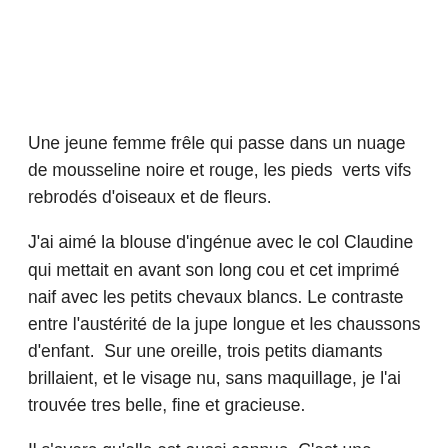Une jeune femme frêle qui passe dans un nuage de mousseline noire et rouge, les pieds  verts vifs rebrodés d'oiseaux et de fleurs.
J'ai aimé la blouse d'ingénue avec le col Claudine qui mettait en avant son long cou et cet imprimé naif avec les petits chevaux blancs. Le contraste entre l'austérité de la jupe longue et les chaussons d'enfant.  Sur une oreille, trois petits diamants brillaient, et le visage nu, sans maquillage, je l'ai trouvée tres belle, fine et gracieuse.
Il s'avere qu'elle est aussi connue. C'est une actrice de séries de drames historiques télévisés dont la Chine est si